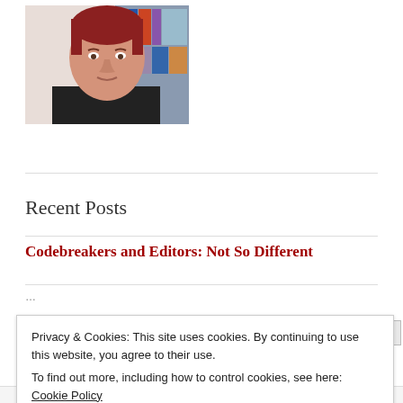[Figure (photo): Portrait photo of a woman with short red hair wearing a black tank top, with bookshelves in the background]
Recent Posts
Codebreakers and Editors: Not So Different
Privacy & Cookies: This site uses cookies. By continuing to use this website, you agree to their use. To find out more, including how to control cookies, see here: Cookie Policy
Close and accept